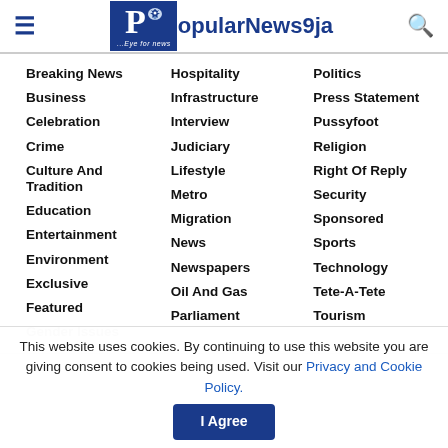[Figure (logo): Popular News9ja logo with eagle icon and tagline '...Eye for news']
Breaking News
Business
Celebration
Crime
Culture And Tradition
Education
Entertainment
Environment
Exclusive
Featured
Gender Issues
Hospitality
Infrastructure
Interview
Judiciary
Lifestyle
Metro
Migration
News
Newspapers
Oil And Gas
Parliament
Politics
Press Statement
Pussyfoot
Religion
Right Of Reply
Security
Sponsored
Sports
Technology
Tete-A-Tete
Tourism
This website uses cookies. By continuing to use this website you are giving consent to cookies being used. Visit our Privacy and Cookie Policy.